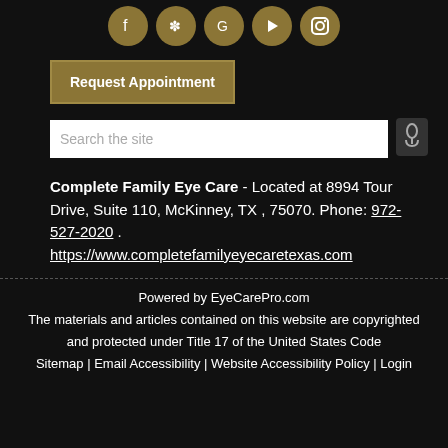[Figure (illustration): Five social media icons in gold circles: Facebook, Yelp, Google, YouTube, Instagram]
Request Appointment
[Figure (screenshot): Search bar with placeholder text 'Search the site' and a microphone icon]
Complete Family Eye Care - Located at 8994 Tour Drive, Suite 110, McKinney, TX , 75070. Phone: 972-527-2020 . https://www.completefamilyeyecaretexas.com
Powered by EyeCarePro.com
The materials and articles contained on this website are copyrighted and protected under Title 17 of the United States Code
Sitemap | Email Accessibility | Website Accessibility Policy | Login